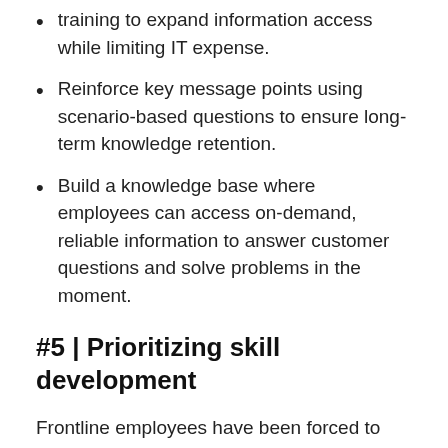training to expand information access while limiting IT expense.
Reinforce key message points using scenario-based questions to ensure long-term knowledge retention.
Build a knowledge base where employees can access on-demand, reliable information to answer customer questions and solve problems in the moment.
#5 | Prioritizing skill development
Frontline employees have been forced to relearn how to do their jobs. This sometimes required basic adjustments, such as using contactless payment devices and PPE in grocery stores. Many employees took on new tasks, such as fulfillment for online retail